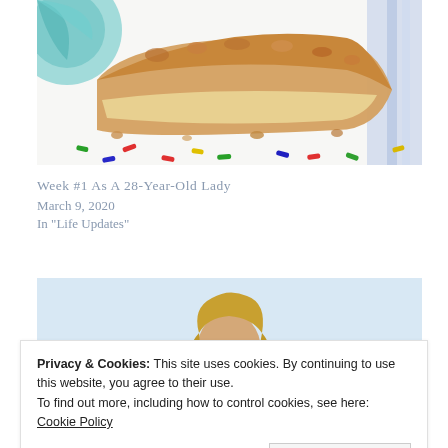[Figure (photo): Close-up photo of a slice of crumble/pie on a white plate with colorful sprinkles (red, blue, green, yellow). The plate has a floral/geometric teal pattern at the edges.]
Week #1 As A 28-Year-Old Lady
March 9, 2020
In "Life Updates"
[Figure (photo): Photo of a blonde woman, partially visible, against a light blue background.]
Privacy & Cookies: This site uses cookies. By continuing to use this website, you agree to their use.
To find out more, including how to control cookies, see here: Cookie Policy
Close and accept